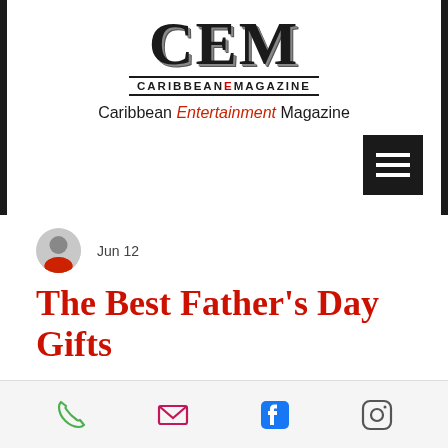[Figure (logo): CEM Caribbean Entertainment Magazine logo with large bold CEM letters, full name CARIBBEANEMAGAZINE below, tagline Caribbean Entertainment Magazine]
Jun 12
The Best Father's Day Gifts
[Figure (infographic): Footer bar with phone, email, Facebook, and Instagram icons]